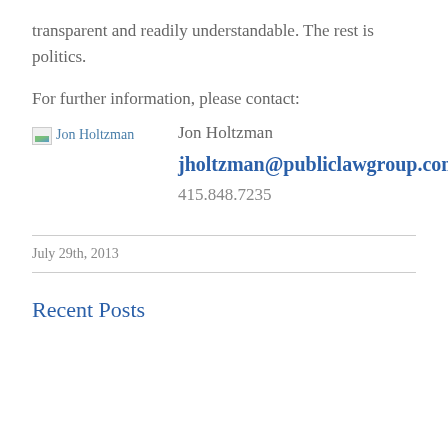transparent and readily understandable. The rest is politics.
For further information, please contact:
[Figure (photo): Broken image placeholder showing Jon Holtzman photo]
Jon Holtzman
jholtzman@publiclawgroup.com
415.848.7235
July 29th, 2013
Recent Posts